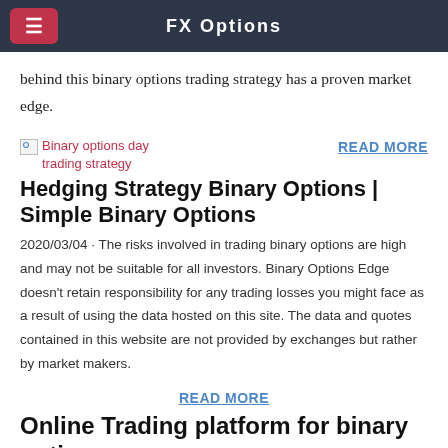FX Options
behind this binary options trading strategy has a proven market edge.
[Figure (illustration): Broken image placeholder labeled 'Binary options day trading strategy']
READ MORE
Hedging Strategy Binary Options | Simple Binary Options
2020/03/04 · The risks involved in trading binary options are high and may not be suitable for all investors. Binary Options Edge doesn't retain responsibility for any trading losses you might face as a result of using the data hosted on this site. The data and quotes contained in this website are not provided by exchanges but rather by market makers.
READ MORE
Online Trading platform for binary options on